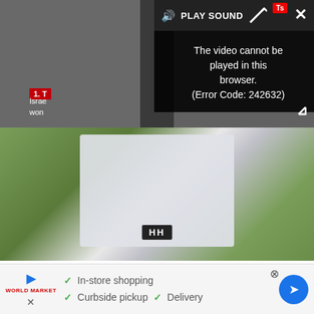[Figure (screenshot): Video player showing error: 'The video cannot be played in this browser. (Error Code: 242632)' with PLAY SOUND button and close/expand controls]
[Figure (photo): Photo of a white Helly Hansen jacket or dry bag on grass]
(Image credit: Mark Mayne)
However, a good waterproof shell doesn't just keep you dry, it's a windproof suit of armour against the elements, which means the fit needs to be impeccable. Our test Helly Hansen Odin Mountain fit Shell jacket did...
[Figure (screenshot): Advertisement bar: World Market store - In-store shopping, Curbside pickup, Delivery with blue navigation arrow icon]